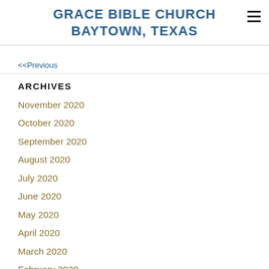GRACE BIBLE CHURCH BAYTOWN, TEXAS
<<Previous
ARCHIVES
November 2020
October 2020
September 2020
August 2020
July 2020
June 2020
May 2020
April 2020
March 2020
February 2020
January 2020
December 2019
November 2019
October 2019